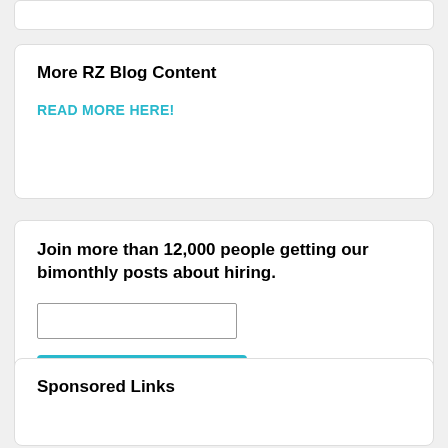More RZ Blog Content
READ MORE HERE!
Join more than 12,000 people getting our bimonthly posts about hiring.
Subscribe
Sponsored Links